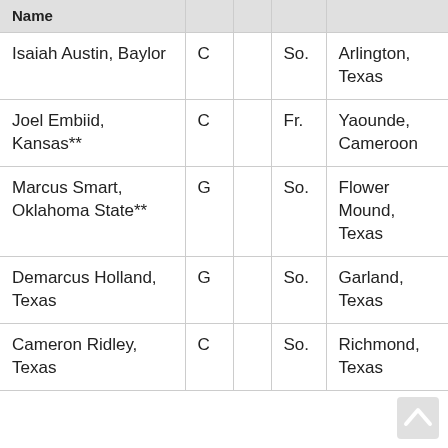| Name | Pos. |  | Yr. | Hometown |
| --- | --- | --- | --- | --- |
| Isaiah Austin, Baylor | C |  | So. | Arlington, Texas |
| Joel Embiid, Kansas** | C |  | Fr. | Yaounde, Cameroon |
| Marcus Smart, Oklahoma State** | G |  | So. | Flower Mound, Texas |
| Demarcus Holland, Texas | G |  | So. | Garland, Texas |
| Cameron Ridley, Texas | C |  | So. | Richmond, Texas |